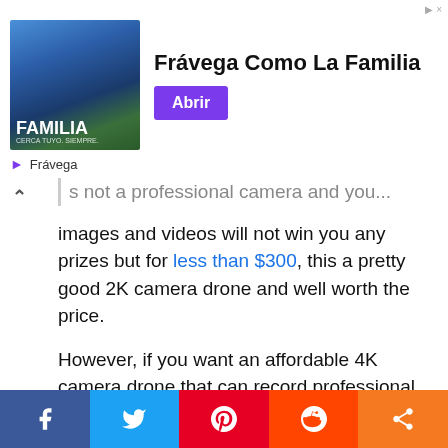[Figure (screenshot): Advertisement banner for Frávega featuring 'Frávega Como La Familia' with a purple 'Abrir' button and group photo]
s not a professional camera and your images and videos will not win you any prizes but for less than $300, this a pretty good 2K camera drone and well worth the price.
However, if you want an affordable 4K camera drone that can record professional grade video footages in 4K, I recommend you read my article on the best cheap 4K drones, there are some stunning 4K drones at reasonable prices.
[Figure (infographic): Social share bar with Facebook, Twitter, Pinterest, Reddit, and share buttons]